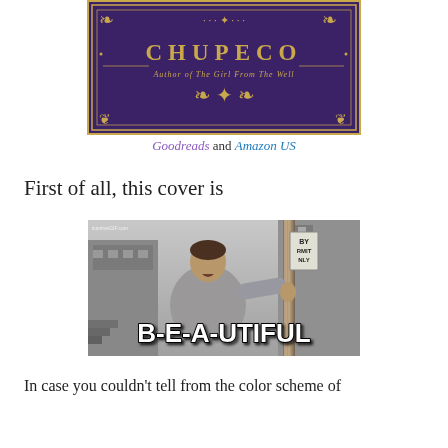[Figure (illustration): Book cover showing author name CHUPECO in gold letters on purple background with ornamental gold border designs, subtitle 'Author of The Girl From The Well']
Goodreads and Amazon US
First of all, this cover is
[Figure (photo): Grayscale meme image of a man leaning against a pole looking upward with text 'B-E-A-UTIFUL' overlaid at the bottom. Watermark reads 'icanhasGIF.com'. A sign reading 'BY RMIT NLY' visible in background.]
In case you couldn't tell from the color scheme of